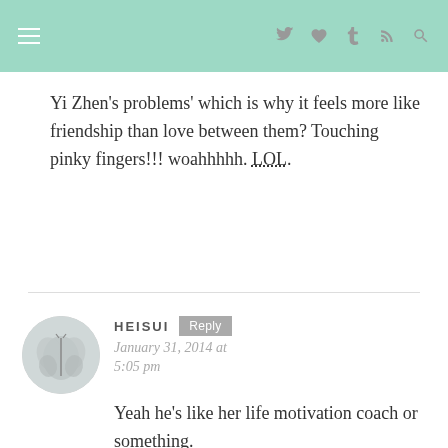Navigation header with hamburger menu and icons
Yi Zhen's problems' which is why it feels more like friendship than love between them? Touching pinky fingers!!! woahhhhh. LOL.
HEISUI
January 31, 2014 at 5:05 pm
Yeah he's like her life motivation coach or something. HAHA and yeah the touching